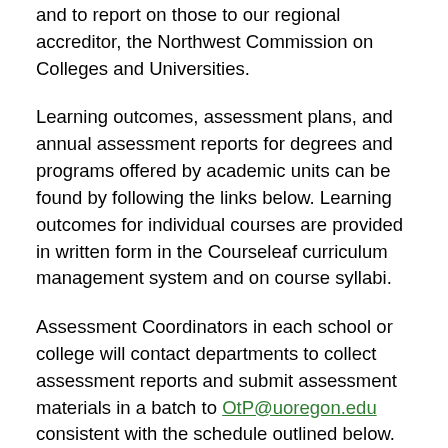and to report on those to our regional accreditor, the Northwest Commission on Colleges and Universities.
Learning outcomes, assessment plans, and annual assessment reports for degrees and programs offered by academic units can be found by following the links below. Learning outcomes for individual courses are provided in written form in the Courseleaf curriculum management system and on course syllabi.
Assessment Coordinators in each school or college will contact departments to collect assessment reports and submit assessment materials in a batch to OtP@uoregon.edu consistent with the schedule outlined below.
Assessment Materials Submission Schedule